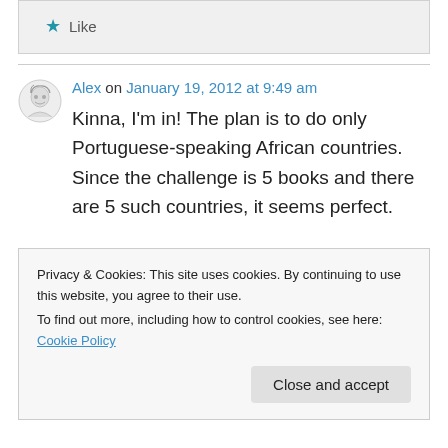Like
Alex on January 19, 2012 at 9:49 am
Kinna, I'm in! The plan is to do only Portuguese-speaking African countries. Since the challenge is 5 books and there are 5 such countries, it seems perfect.

I've already looked online and know I'll have
Privacy & Cookies: This site uses cookies. By continuing to use this website, you agree to their use.
To find out more, including how to control cookies, see here: Cookie Policy
Close and accept